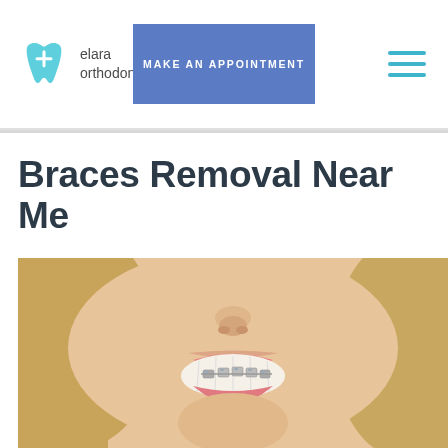elara orthodontics
MAKE AN APPOINTMENT
Braces Removal Near Me
[Figure (photo): Close-up photo of a young woman smiling with metal braces on her teeth. She has long blonde hair.]